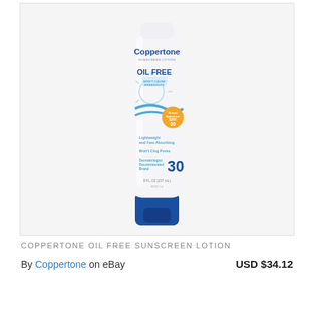[Figure (photo): Coppertone Oil Free Sunscreen Lotion SPF 30 bottle, white with blue cap. Label reads: Coppertone Sunscreen Lotion, OIL FREE, Won't Cause Breakouts, Broad Spectrum SPF 30, Lightweight and Fast Absorbing, Won't Clog Pores, Dermatologist Recommended Brand, 8 FL OZ (237 mL)]
COPPERTONE OIL FREE SUNSCREEN LOTION
By Coppertone on eBay   USD $34.12